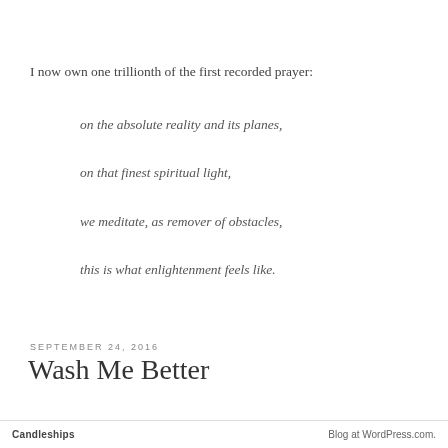I now own one trillionth of the first recorded prayer:
on the absolute reality and its planes,
on that finest spiritual light,
we meditate, as remover of obstacles,
this is what enlightenment feels like.
SEPTEMBER 24, 2016
Wash Me Better
Candleships    Blog at WordPress.com.